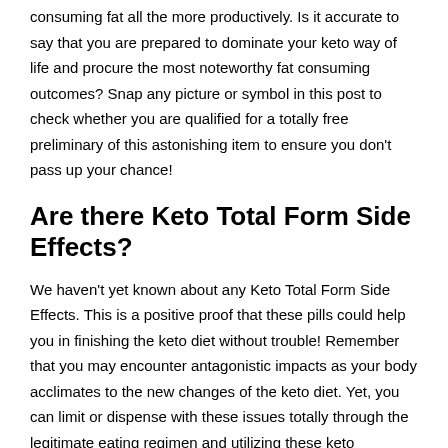consuming fat all the more productively. Is it accurate to say that you are prepared to dominate your keto way of life and procure the most noteworthy fat consuming outcomes? Snap any picture or symbol in this post to check whether you are qualified for a totally free preliminary of this astonishing item to ensure you don't pass up your chance!
Are there Keto Total Form Side Effects?
We haven't yet known about any Keto Total Form Side Effects. This is a positive proof that these pills could help you in finishing the keto diet without trouble! Remember that you may encounter antagonistic impacts as your body acclimates to the new changes of the keto diet. Yet, you can limit or dispense with these issues totally through the legitimate eating regimen and utilizing these keto sponsors consistently.